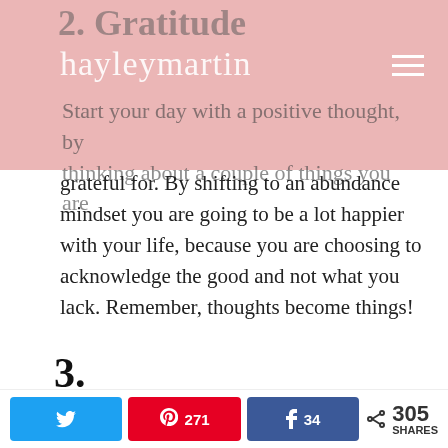hayleymartin (logo/navigation header)
2. Gratitude
Start your day with a positive thought, by thinking about a couple of things you are grateful for. By shifting to an abundance mindset you are going to be a lot happier with your life, because you are choosing to acknowledge the good and not what you lack. Remember, thoughts become things!
3. Affirmations/Scripting/Journal
Privacy & Cookies: This site uses cookies. By continuing to use this website, you agree to their use. To find out more, including how to control cookies, see here:
305 SHARES — Twitter share button, Pinterest 271, Facebook 34